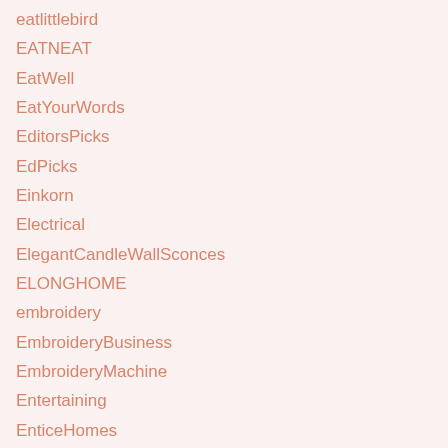eatlittlebird
EATNEAT
EatWell
EatYourWords
EditorsPicks
EdPicks
Einkorn
Electrical
ElegantCandleWallSconces
ELONGHOME
embroidery
EmbroideryBusiness
EmbroideryMachine
Entertaining
EnticeHomes